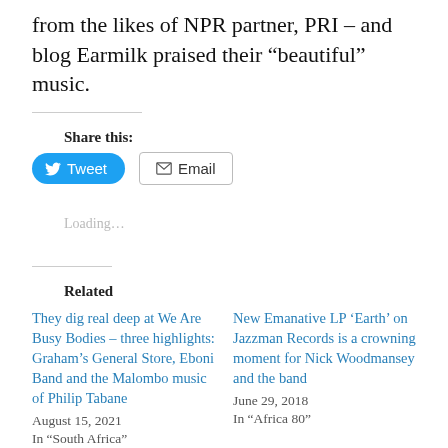from the likes of NPR partner, PRI – and blog Earmilk praised their “beautiful” music.
Share this:
[Figure (other): Tweet button (blue rounded, Twitter bird icon) and Email button (white with envelope icon)]
Loading…
Related
They dig real deep at We Are Busy Bodies – three highlights: Graham’s General Store, Eboni Band and the Malombo music of Philip Tabane
August 15, 2021
In “South Africa”
New Emanative LP ‘Earth’ on Jazzman Records is a crowning moment for Nick Woodmansey and the band
June 29, 2018
In “Africa 80”